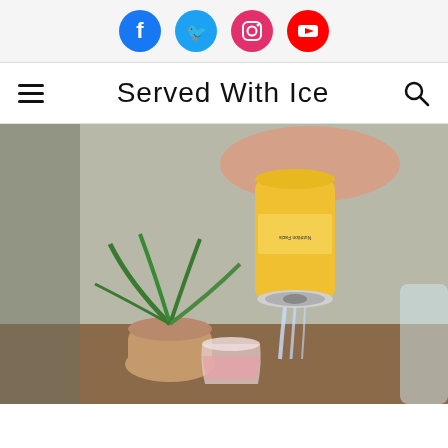Social media icons: Facebook, Twitter, Instagram, YouTube
Served With Ice
[Figure (photo): A hand holding an upside-down yellow can pouring liquid into a glass with a pink drink, with a small potted green plant in the background on a wooden surface.]